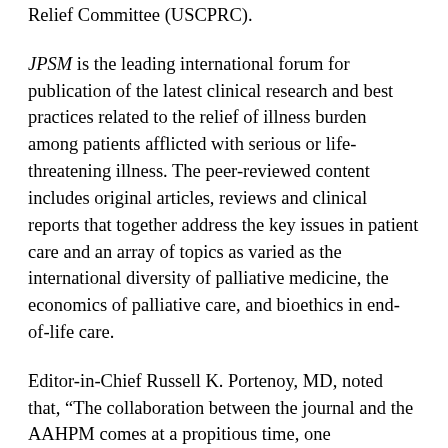Relief Committee (USCPRC).
JPSM is the leading international forum for publication of the latest clinical research and best practices related to the relief of illness burden among patients afflicted with serious or life-threatening illness. The peer-reviewed content includes original articles, reviews and clinical reports that together address the key issues in patient care and an array of topics as varied as the international diversity of palliative medicine, the economics of palliative care, and bioethics in end-of-life care.
Editor-in-Chief Russell K. Portenoy, MD, noted that, "The collaboration between the journal and the AAHPM comes at a propitious time, one characterized by the mainstreaming of palliative medicine in the U.S. health care system, increasing access to specialist palliative care in diverse venues, and a growing desire to anchor the field of palliative medicine to both evidence-based medicine and health care quality